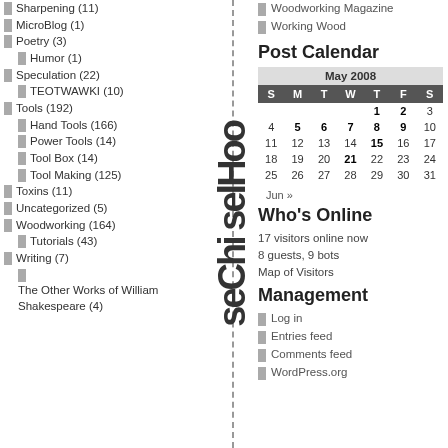Sharpening (11)
MicroBlog (1)
Poetry (3)
Humor (1)
Speculation (22)
TEOTWAWKI (10)
Tools (192)
Hand Tools (166)
Power Tools (14)
Tool Box (14)
Tool Making (125)
Toxins (11)
Uncategorized (5)
Woodworking (164)
Tutorials (43)
Writing (7)
The Other Works of William Shakespeare (4)
[Figure (other): Vertical large text reading 'seCh isel Ho o']
Woodworking Magazine
Working Wood
Post Calendar
| S | M | T | W | T | F | S |
| --- | --- | --- | --- | --- | --- | --- |
|  |  |  |  | 1 | 2 | 3 |
| 4 | 5 | 6 | 7 | 8 | 9 | 10 |
| 11 | 12 | 13 | 14 | 15 | 16 | 17 |
| 18 | 19 | 20 | 21 | 22 | 23 | 24 |
| 25 | 26 | 27 | 28 | 29 | 30 | 31 |
Jun »
Who's Online
17 visitors online now
8 guests, 9 bots
Map of Visitors
Management
Log in
Entries feed
Comments feed
WordPress.org